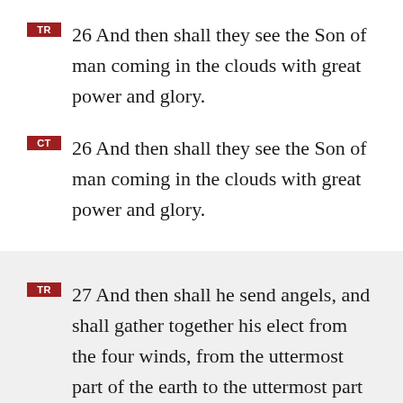TR 26 And then shall they see the Son of man coming in the clouds with great power and glory.
CT 26 And then shall they see the Son of man coming in the clouds with great power and glory.
TR 27 And then shall he send angels, and shall gather together his elect from the four winds, from the uttermost part of the earth to the uttermost part of heaven.